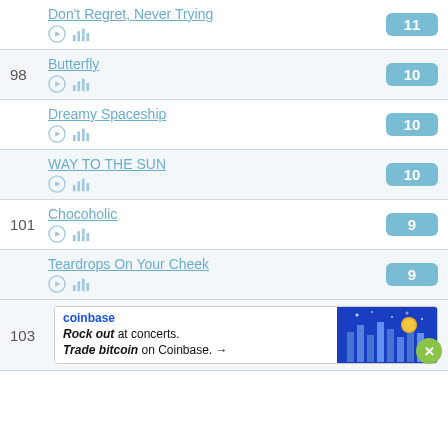Don't Regret, Never Trying — score: 11
98 Butterfly — score: 10
Dreamy Spaceship — score: 10
WAY TO THE SUN — score: 10
101 Chocoholic — score: 9
Teardrops On Your Cheek — score: 9
103
[Figure (other): Coinbase advertisement banner: 'Rock out at concerts. Trade bitcoin on Coinbase.' with arrow, coinbase logo on left, blue concert graphic on right]